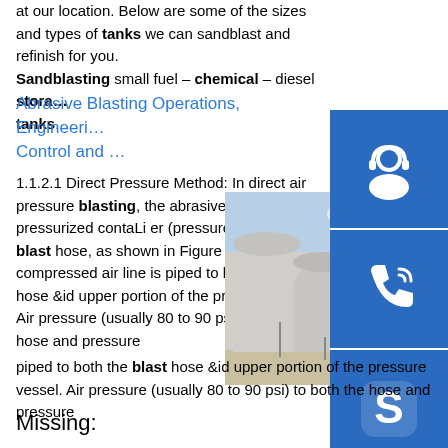at our location. Below are some of the sizes and types of tanks we can sandblast and refinish for you. Sandblasting small fuel – chemical – diesel storage tanks.
Abrasive Blasting Operations, Engineering Control and …
1.1.2.1 Direct Pressure Method: In direct air pressure blasting, the abrasive is fed from a pressurized contaLi er (pressure vessel) into a blast hose, as shown in Figure 11-2. The compressed air line is piped to both the blast hose &id upper portion of the pressure vessel. Air pressure (usually 80 to 90 psi) to both the hose and pressure
[Figure (photo): Large cylindrical white storage tanks outdoors under a partly cloudy sky]
[Figure (infographic): Three blue sidebar buttons: headset/support icon, phone icon, Skype icon]
Missing: